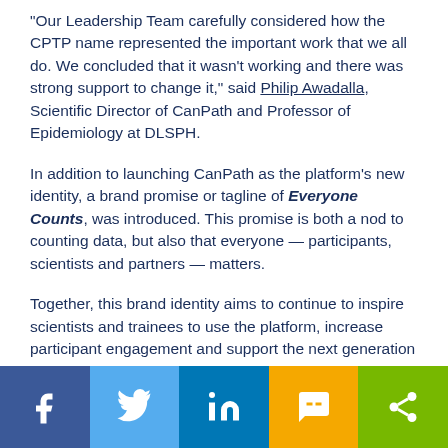“Our Leadership Team carefully considered how the CPTP name represented the important work that we all do. We concluded that it wasn’t working and there was strong support to change it,” said Philip Awadalla, Scientific Director of CanPath and Professor of Epidemiology at DLSPH.
In addition to launching CanPath as the platform’s new identity, a brand promise or tagline of Everyone Counts, was introduced. This promise is both a nod to counting data, but also that everyone — participants, scientists and partners — matters.
Together, this brand identity aims to continue to inspire scientists and trainees to use the platform, increase participant engagement and support the next generation of sustainable funding.
[Figure (infographic): Social share bar with five buttons: Facebook (dark blue), Twitter (light blue), LinkedIn (medium blue), SMS (yellow/orange), and generic share (green).]